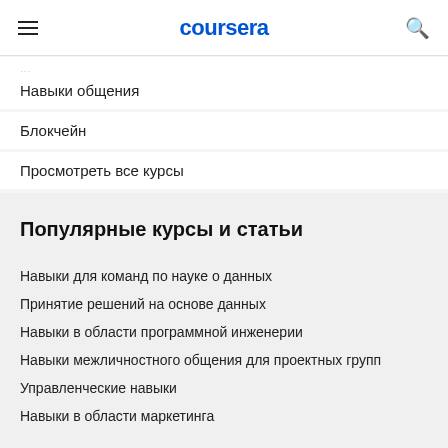coursera
Навыки общения
Блокчейн
Просмотреть все курсы
Популярные курсы и статьи
Навыки для команд по науке о данных
Принятие решений на основе данных
Навыки в области программной инженерии
Навыки межличностного общения для проектных групп
Управленческие навыки
Навыки в области маркетинга